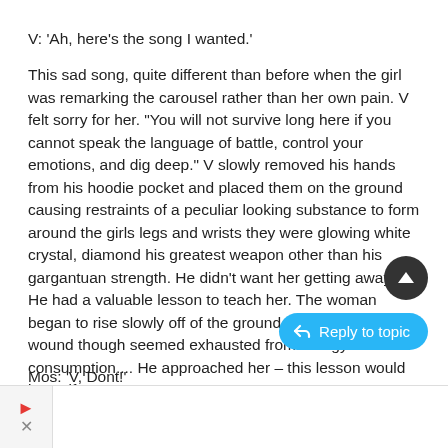V: 'Ah, here's the song I wanted.'
This sad song, quite different than before when the girl was remarking the carousel rather than her own pain. V felt sorry for her. "You will not survive long here if you cannot speak the language of battle, control your emotions, and dig deep." V slowly removed his hands from his hoodie pocket and placed them on the ground causing restraints of a peculiar looking substance to form around the girls legs and wrists they were glowing white crystal, diamond his greatest weapon other than his gargantuan strength. He didn't want her getting away... He had a valuable lesson to teach her. The woman began to rise slowly off of the ground, V disregarding her wound though seemed exhausted from energy consumption.... He approached her – this lesson would be swift.
Mos: 'V, Dont!'